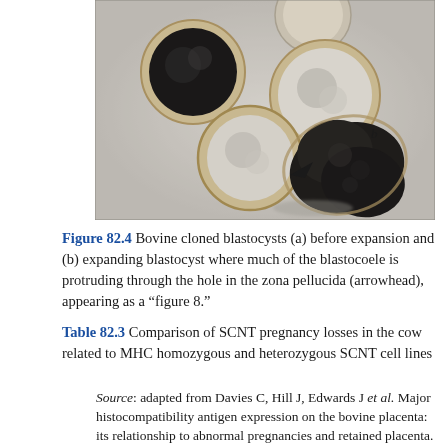[Figure (photo): Microscopy photograph of bovine cloned blastocysts. Shows multiple spherical blastocysts with zona pellucida. One blastocyst (labeled b) is expanding with the blastocoele protruding through the hole in the zona pellucida, indicated by an arrowhead, appearing as a figure 8 shape. Image is black and white/grayscale.]
Figure 82.4 Bovine cloned blastocysts (a) before expansion and (b) expanding blastocyst where much of the blastocoele is protruding through the hole in the zona pellucida (arrowhead), appearing as a "figure 8."
Table 82.3 Comparison of SCNT pregnancy losses in the cow related to MHC homozygous and heterozygous SCNT cell lines
Source: adapted from Davies C, Hill J, Edwards J et al. Major histocompatibility antigen expression on the bovine placenta: its relationship to abnormal pregnancies and retained placenta. Anim Reprod Sci 2004;82–83:267–280 with permission from